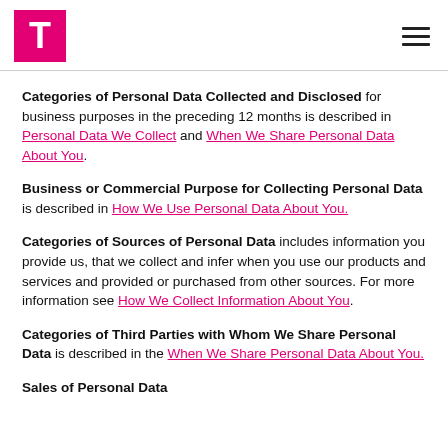T-Mobile logo and navigation
Categories of Personal Data Collected and Disclosed for business purposes in the preceding 12 months is described in Personal Data We Collect and When We Share Personal Data About You.
Business or Commercial Purpose for Collecting Personal Data is described in How We Use Personal Data About You.
Categories of Sources of Personal Data includes information you provide us, that we collect and infer when you use our products and services and provided or purchased from other sources. For more information see How We Collect Information About You.
Categories of Third Parties with Whom We Share Personal Data is described in the When We Share Personal Data About You.
Sales of Personal Data